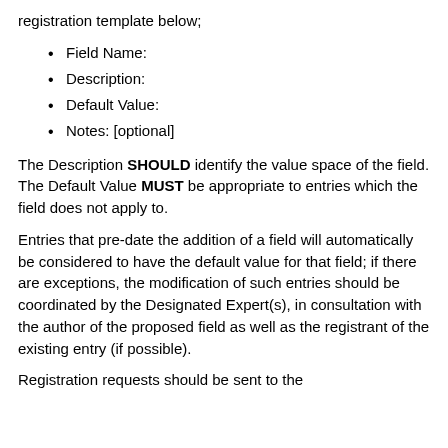registration template below;
Field Name:
Description:
Default Value:
Notes: [optional]
The Description SHOULD identify the value space of the field. The Default Value MUST be appropriate to entries which the field does not apply to.
Entries that pre-date the addition of a field will automatically be considered to have the default value for that field; if there are exceptions, the modification of such entries should be coordinated by the Designated Expert(s), in consultation with the author of the proposed field as well as the registrant of the existing entry (if possible).
Registration requests should be sent to the